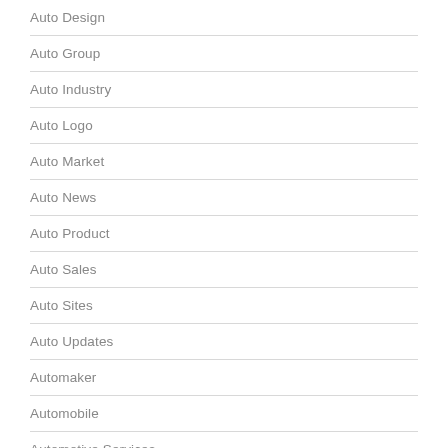Auto Design
Auto Group
Auto Industry
Auto Logo
Auto Market
Auto News
Auto Product
Auto Sales
Auto Sites
Auto Updates
Automaker
Automobile
Automotive Services